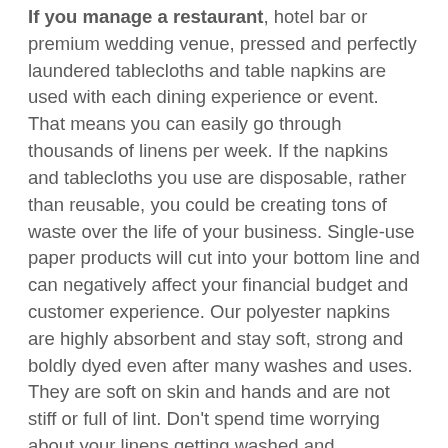If you manage a restaurant, hotel bar or premium wedding venue, pressed and perfectly laundered tablecloths and table napkins are used with each dining experience or event. That means you can easily go through thousands of linens per week. If the napkins and tablecloths you use are disposable, rather than reusable, you could be creating tons of waste over the life of your business. Single-use paper products will cut into your bottom line and can negatively affect your financial budget and customer experience. Our polyester napkins are highly absorbent and stay soft, strong and boldly dyed even after many washes and uses. They are soft on skin and hands and are not stiff or full of lint. Don't spend time worrying about your linens getting washed and organized on time. Partner with Now Linens for top-quality service and bold, elegant napery.
Check Out Our Catalog